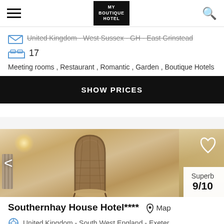MY BOUTIQUE HOTEL
United Kingdom - West Sussex - GH - East Grinstead
17
Meeting rooms , Restaurant , Romantic , Garden , Boutique Hotels
SHOW PRICES
[Figure (photo): Hotel room interior with ornate wicker chair, curtains, and warm lighting. Rating overlay: Superb 9/10]
Southernhay House Hotel**** Map
United Kingdom - South West England - Exeter